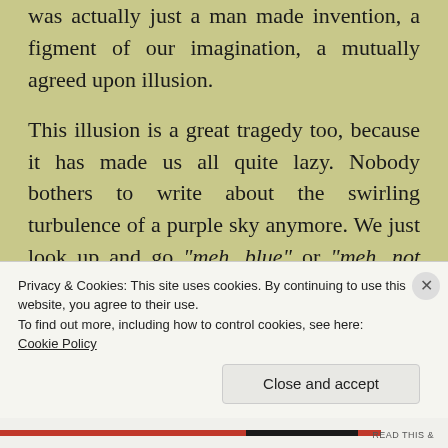was actually just a man made invention, a figment of our imagination, a mutually agreed upon illusion.

This illusion is a great tragedy too, because it has made us all quite lazy. Nobody bothers to write about the swirling turbulence of a purple sky anymore. We just look up and go “meh, blue” or “meh, not blue today.”
Privacy & Cookies: This site uses cookies. By continuing to use this website, you agree to their use.
To find out more, including how to control cookies, see here:
Cookie Policy